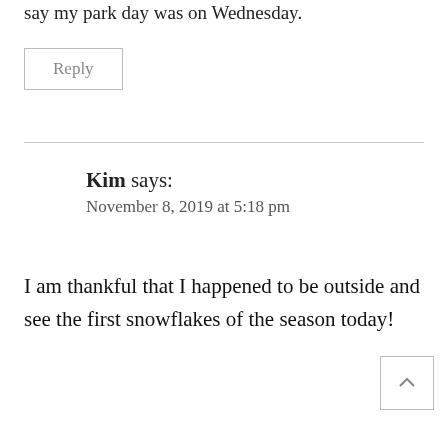say my park day was on Wednesday.
Reply
Kim says:
November 8, 2019 at 5:18 pm
I am thankful that I happened to be outside and see the first snowflakes of the season today!